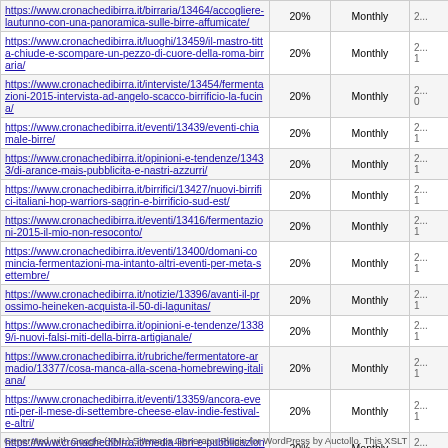| URL | Priority | Change Frequency | Last Modified |
| --- | --- | --- | --- |
| https://www.cronachedibirra.it/birraria/13464/accogliere-lautunno-con-una-panoramica-sulle-birre-affumicate/ | 20% | Monthly | 2... |
| https://www.cronachedibirra.it/luoghi/13459/il-mastro-titta-chiude-e-scompare-un-pezzo-di-cuore-della-roma-birraria/ | 20% | Monthly | 2...1 |
| https://www.cronachedibirra.it/interviste/13454/fermentazioni-2015-intervista-ad-angelo-scacco-birrificio-la-fucina/ | 20% | Monthly | 2...0 |
| https://www.cronachedibirra.it/eventi/13439/eventi-chiamale-birre/ | 20% | Monthly | 2...1 |
| https://www.cronachedibirra.it/opinioni-e-tendenze/13433/di-arance-mais-pubblicita-e-nastri-azzurri/ | 20% | Monthly | 2...1 |
| https://www.cronachedibirra.it/birrifici/13427/nuovi-birrifici-italiani-hop-warriors-sagrin-e-birrificio-sud-est/ | 20% | Monthly | 2...1 |
| https://www.cronachedibirra.it/eventi/13416/fermentazioni-2015-il-mio-non-resoconto/ | 20% | Monthly | 2...1 |
| https://www.cronachedibirra.it/eventi/13400/domani-comincia-fermentazioni-ma-intanto-altri-eventi-per-meta-settembre/ | 20% | Monthly | 2...1 |
| https://www.cronachedibirra.it/notizie/13396/avanti-il-prossimo-heineken-acquista-il-50-di-lagunitas/ | 20% | Monthly | 2...1 |
| https://www.cronachedibirra.it/opinioni-e-tendenze/13389/i-nuovi-falsi-miti-della-birra-artigianale/ | 20% | Monthly | 2...1 |
| https://www.cronachedibirra.it/rubriche/fermentatore-armadio/13377/cosa-manca-alla-scena-homebrewing-italiana/ | 20% | Monthly | 2...1 |
| https://www.cronachedibirra.it/eventi/13359/ancora-eventi-per-il-mese-di-settembre-cheese-elav-indie-festival-e-altri/ | 20% | Monthly | 2...1 |
| https://www.cronachedibirra.it/media-libri-e-pubblicazioni/13355/a-suon-di-pinte-la-mia-recensione/ | 20% | Monthly | 2...0 |
| https://www.cronachedibirra.it/eventi/13346/fermentazioni-si-avvicina-ed-ecco-il-programma-di-laboratori-e-seminari/ | 20% | Monthly | 2...1 |
| https://www.cronachedibirra.it/birre/13339/nuove-birre-da-olmaia-toccalmatto-pbc-la-fucina-e-mc-77/ | 20% | Monthly | 2...1 |
Generated with Google (XML) Sitemaps Generator Plugin for WordPress by Auctollo. This XSLT